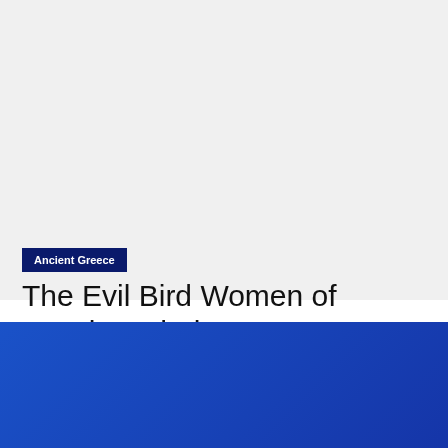[Figure (other): Large light grey blank/placeholder image area occupying the top portion of the page]
Ancient Greece
The Evil Bird Women of Greek Mythology
About   Privacy Policy   Contact the GR team   Greece Survival Guide   Greek Name Days   Watch Greek TV Live   Greek Reporter Preferred Hotels   © Copyright - GreekReporter.com